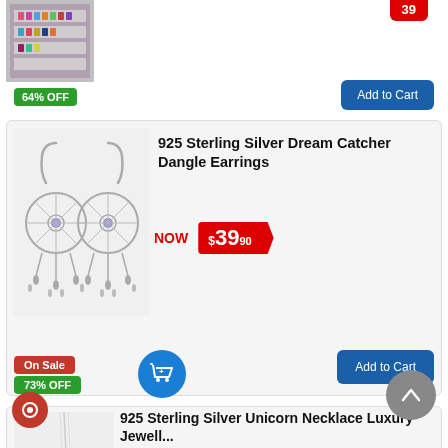[Figure (photo): Acrylic nail polish organizer display with colorful bottles]
39
64% OFF
Add to Cart
925 Sterling Silver Dream Catcher Dangle Earrings
[Figure (photo): 925 Sterling Silver Dream Catcher Dangle Earrings pair on white background]
NOW $39.90
On Sale
73% OFF
Add to Cart
925 Sterling Silver Unicorn Necklace Luxury Jewell...